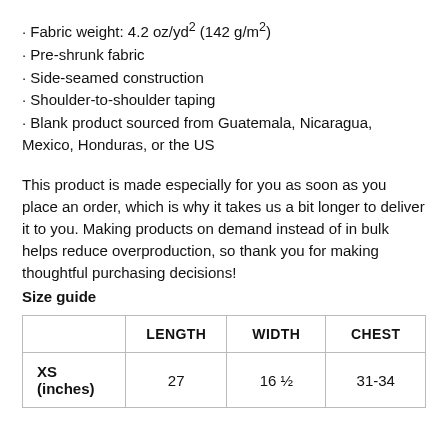Fabric weight: 4.2 oz/yd² (142 g/m²)
Pre-shrunk fabric
Side-seamed construction
Shoulder-to-shoulder taping
Blank product sourced from Guatemala, Nicaragua, Mexico, Honduras, or the US
This product is made especially for you as soon as you place an order, which is why it takes us a bit longer to deliver it to you. Making products on demand instead of in bulk helps reduce overproduction, so thank you for making thoughtful purchasing decisions!
Size guide
|  | LENGTH | WIDTH | CHEST |
| --- | --- | --- | --- |
| XS (inches) | 27 | 16 ½ | 31-34 |